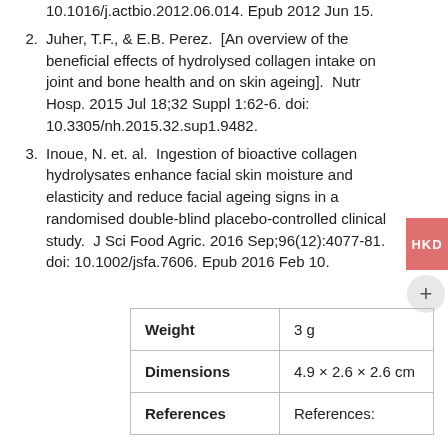10.1016/j.actbio.2012.06.014. Epub 2012 Jun 15.
Juher, T.F., & E.B. Perez. [An overview of the beneficial effects of hydrolysed collagen intake on joint and bone health and on skin ageing]. Nutr Hosp. 2015 Jul 18;32 Suppl 1:62-6. doi: 10.3305/nh.2015.32.sup1.9482.
Inoue, N. et. al. Ingestion of bioactive collagen hydrolysates enhance facial skin moisture and elasticity and reduce facial ageing signs in a randomised double-blind placebo-controlled clinical study. J Sci Food Agric. 2016 Sep;96(12):4077-81. doi: 10.1002/jsfa.7606. Epub 2016 Feb 10.
|  |  |
| --- | --- |
| Weight | 3 g |
| Dimensions | 4.9 × 2.6 × 2.6 cm |
| References | References: |